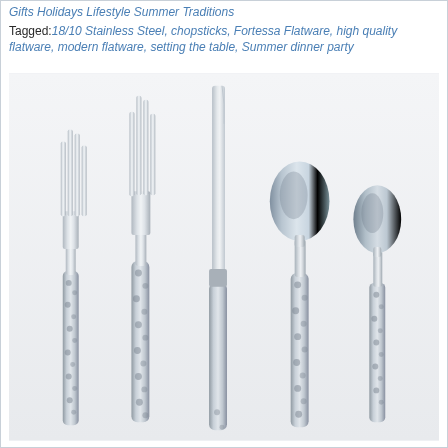Gifts Holidays Lifestyle Summer Traditions
Tagged: 18/10 Stainless Steel, chopsticks, Fortessa Flatware, high quality flatware, modern flatware, setting the table, Summer dinner party
[Figure (photo): A set of five pieces of polished stainless steel flatware with hammered handles arranged on a white background: salad fork, dinner fork, dinner knife, dinner spoon, and teaspoon.]